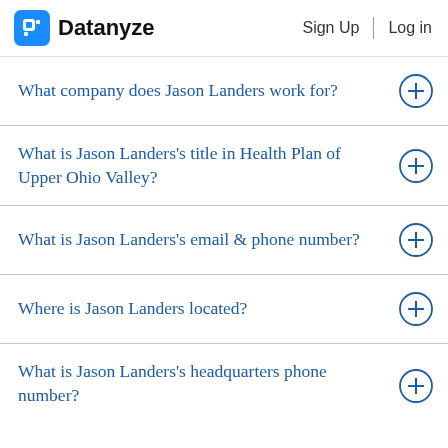Datanyze | Sign Up | Log in
What company does Jason Landers work for?
What is Jason Landers’s title in Health Plan of Upper Ohio Valley?
What is Jason Landers’s email & phone number?
Where is Jason Landers located?
What is Jason Landers’s headquarters phone number?